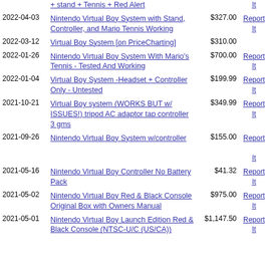| Date | Title | Price | Action |
| --- | --- | --- | --- |
|  | + stand + Tennis + Red Alert |  | It |
| 2022-04-03 | Nintendo Virtual Boy System with Stand, Controller, and Mario Tennis Working | $327.00 | Report It |
| 2022-03-12 | Virtual Boy System [on PriceCharting] | $310.00 |  |
| 2022-01-26 | Nintendo Virtual Boy System With Mario's Tennis - Tested And Working | $700.00 | Report It |
| 2022-01-04 | Virtual Boy System -Headset + Controller Only - Untested | $199.99 | Report It |
| 2021-10-21 | Virtual Boy system (WORKS BUT w/ ISSUES!) tripod AC adaptor tap controller 3 gms | $349.99 | Report It |
| 2021-09-26 | Nintendo Virtual Boy System w/controller | $155.00 | Report It |
| 2021-05-16 | Nintendo Virtual Boy Controller No Battery Pack | $41.32 | Report It |
| 2021-05-02 | Nintendo Virtual Boy Red & Black Console Original Box with Owners Manual | $975.00 | Report It |
| 2021-05-01 | Nintendo Virtual Boy Launch Edition Red & Black Console (NTSC-U/C (US/CA)) | $1,147.50 | Report It |